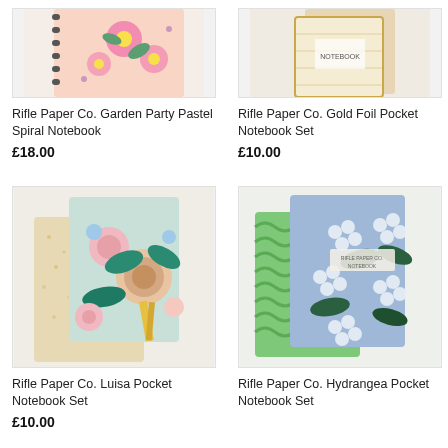[Figure (photo): Rifle Paper Co. Garden Party Pastel Spiral Notebook - floral spiral notebook with pink and yellow flowers, partially cropped at top]
Rifle Paper Co. Garden Party Pastel Spiral Notebook
£18.00
[Figure (photo): Rifle Paper Co. Gold Foil Pocket Notebook Set - notebook set with gold foil details, partially cropped at top]
Rifle Paper Co. Gold Foil Pocket Notebook Set
£10.00
[Figure (photo): Rifle Paper Co. Luisa Pocket Notebook Set - pocket notebook set with colorful floral design in pink, teal, yellow]
Rifle Paper Co. Luisa Pocket Notebook Set
£10.00
[Figure (photo): Rifle Paper Co. Hydrangea Pocket Notebook Set - pocket notebook set with blue hydrangea floral design and green wave pattern]
Rifle Paper Co. Hydrangea Pocket Notebook Set